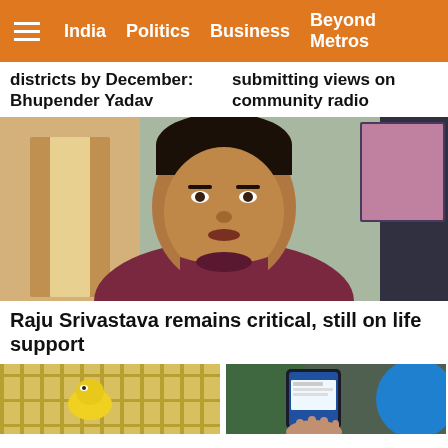India | Politics | Business | Beyond Metros
districts by December: Bhupender Yadav
submitting views on community radio
[Figure (photo): Man in maroon t-shirt speaking, indoors]
Raju Srivastava remains critical, still on life support
[Figure (photo): Yellow bird in cage, partial view]
[Figure (photo): Hand holding smartphone, partial view]